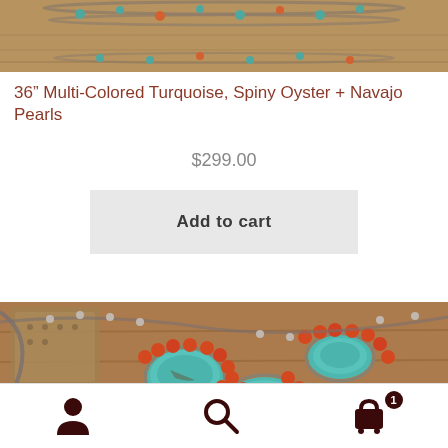[Figure (photo): Close-up photo of turquoise, spiny oyster and Navajo pearl necklaces on a wooden surface]
36” Multi-Colored Turquoise, Spiny Oyster + Navajo Pearls
$299.00
Add to cart
[Figure (photo): Close-up photo of turquoise and spiny oyster cluster necklace pieces on a wooden surface]
[Figure (infographic): Bottom navigation bar with user account icon, search icon, and shopping cart icon with badge showing 1 item]